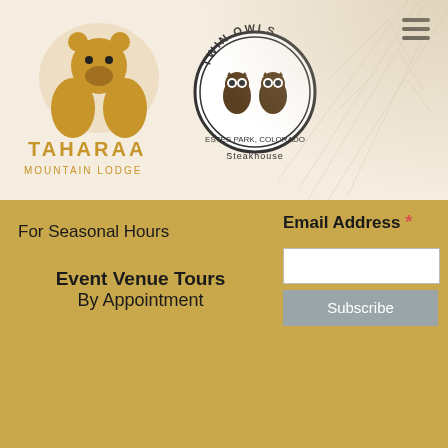[Figure (logo): Taharaa Mountain Lodge golden bear logo with text 'TAHARAA MOUNTAIN LODGE']
[Figure (logo): Twin Owls Steakhouse circular badge logo with owls illustration]
For Seasonal Hours
Event Venue Tours
By Appointment
Email Address *
Subscribe
© Copyright 2022 Taharaa | All rights reserved | Website by Web Yodel
[Figure (infographic): Social media icons: Facebook (blue rounded square), Pinterest (red rounded square), Instagram (steel blue rounded square)]